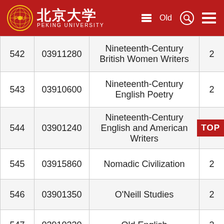北京大学 PEKING UNIVERSITY
|  |  |  |  |
| --- | --- | --- | --- |
| 542 | 03911280 | Nineteenth-Century British Women Writers | 2 |
| 543 | 03910600 | Nineteenth-Century English Poetry | 2 |
| 544 | 03901240 | Nineteenth-Century English and American Writers |  |
| 545 | 03915860 | Nomadic Civilization | 2 |
| 546 | 03901350 | O'Neill Studies | 2 |
| 547 | 03910330 | Old English | 2 |
| 548 | 03900510 | Old Japanese Studies | 2 |
| 549 | 03910500 | On Japanese-chinese |  |